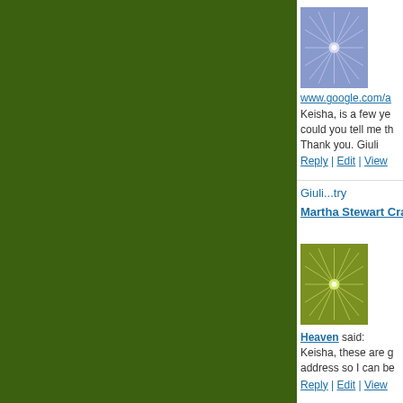[Figure (illustration): Purple/lavender decorative tile avatar with geometric star/snowflake pattern]
www.google.com/a
Keisha, is a few ye could you tell me th Thank you. Giuli
Reply | Edit | View
Giuli...try
Martha Stewart Craf
[Figure (illustration): Green/olive decorative tile avatar with geometric star/snowflake pattern]
Heaven said: Keisha, these are g address so I can be
Reply | Edit | View